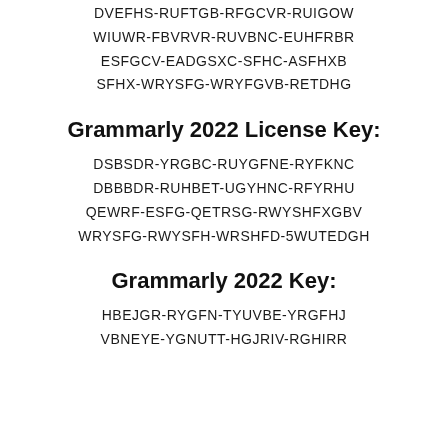DVEFHS-RUFTGB-RFGCVR-RUIGOW
WIUWR-FBVRVR-RUVBNC-EUHFRBR
ESFGCV-EADGSXC-SFHC-ASFHXB
SFHX-WRYSFG-WRYFGVB-RETDHG
Grammarly 2022 License Key:
DSBSDR-YRGBC-RUYGFNE-RYFKNC
DBBBDR-RUHBET-UGYHNC-RFYRHU
QEWRF-ESFG-QETRSG-RWYSHFXGBV
WRYSFG-RWYSFH-WRSHFD-5WUTEDGH
Grammarly 2022 Key:
HBEJGR-RYGFN-TYUVBE-YRGFHJ
VBNEYE-YGNUTT-HGJRIV-RGHIRR